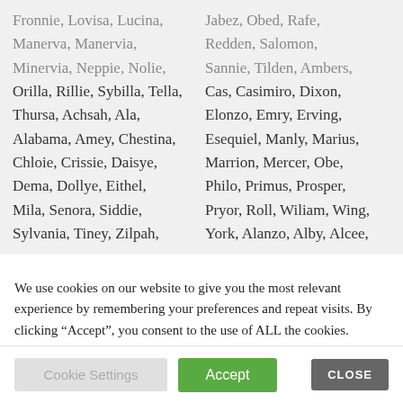Fronnie, Lovisa, Lucina, Manerva, Manervia, Minervia, Neppie, Nolie, Orilla, Rillie, Sybilla, Tella, Thursa, Achsah, Ala, Alabama, Amey, Chestina, Chloie, Crissie, Daisye, Dema, Dollye, Eithel, Mila, Senora, Siddie, Sylvania, Tiney, Zilpah, | Jabez, Obed, Rafe, Redden, Salomon, Sannie, Tilden, Ambers, Cas, Casimiro, Dixon, Elonzo, Emry, Erving, Esequiel, Manly, Marius, Marrion, Mercer, Obe, Philo, Primus, Prosper, Pryor, Roll, Wiliam, Wing, York, Alanzo, Alby, Alcee,
We use cookies on our website to give you the most relevant experience by remembering your preferences and repeat visits. By clicking “Accept”, you consent to the use of ALL the cookies.
Do not sell my personal information.